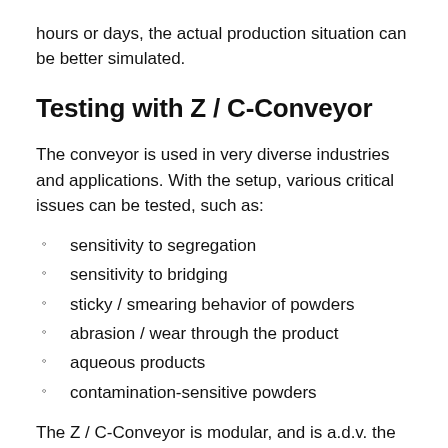hours or days, the actual production situation can be better simulated.
Testing with Z / C-Conveyor
The conveyor is used in very diverse industries and applications. With the setup, various critical issues can be tested, such as:
sensitivity to segregation
sensitivity to bridging
sticky / smearing behavior of powders
abrasion / wear through the product
aqueous products
contamination-sensitive powders
The Z / C-Conveyor is modular, and is a.d.v. the